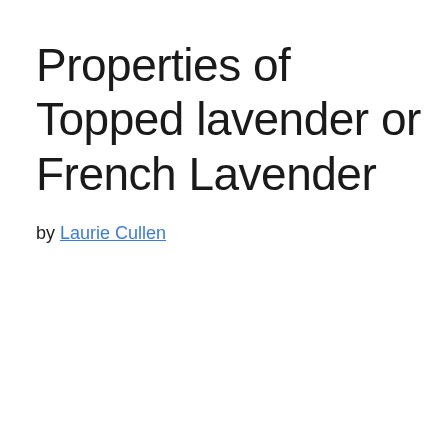Properties of Topped lavender or French Lavender
by Laurie Cullen